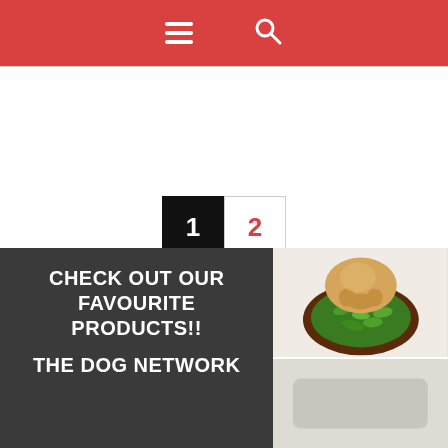Navigation header with menu and search icons
1 2 (pagination)
CHECK OUT OUR FAVOURITE PRODUCTS!!

THE DOG NETWORK
[Figure (photo): Dog sniffing or eating from a green snuffle mat in a brown bowl, viewed from above, on a white floor]